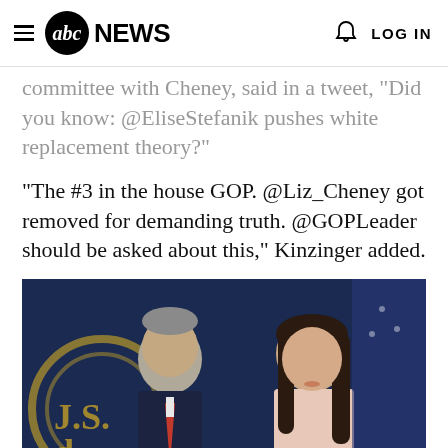abc NEWS   LOG IN
committee with Cheney, said in a tweet, "Did you know: @EliseStefanik pushes white replacement theory?"
"The #3 in the house GOP. @Liz_Cheney got removed for demanding truth. @GOPLeader should be asked about this," Kinzinger added.
[Figure (photo): Two politicians seated at what appears to be a press conference in front of a U.S. Capitol backdrop. A man in a dark suit with a red tie is on the left, and a woman with long dark hair in a light-colored blazer is on the right.]